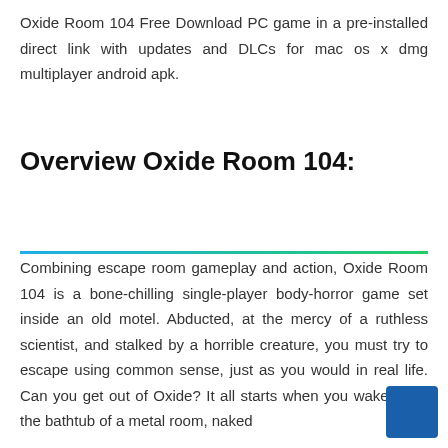Oxide Room 104 Free Download PC game in a pre-installed direct link with updates and DLCs for mac os x dmg multiplayer android apk.
Overview Oxide Room 104:
Combining escape room gameplay and action, Oxide Room 104 is a bone-chilling single-player body-horror game set inside an old motel. Abducted, at the mercy of a ruthless scientist, and stalked by a horrible creature, you must try to escape using common sense, just as you would in real life. Can you get out of Oxide? It all starts when you wake up in the bathtub of a metal room, naked